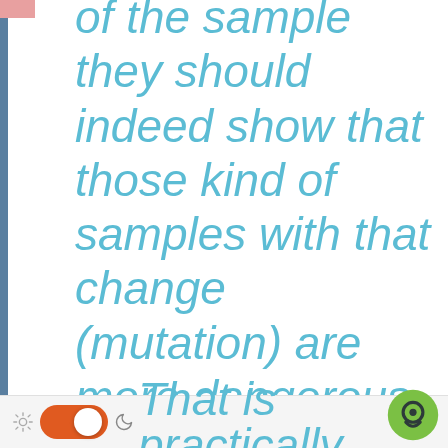of the sample they should indeed show that those kind of samples with that change (mutation) are more dangerous than the rest. That is practically